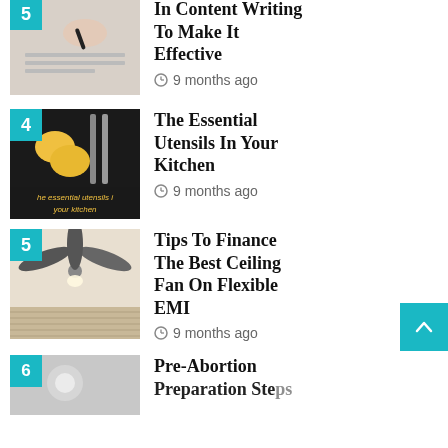5 — In Content Writing To Make It Effective — 9 months ago
4 — The Essential Utensils In Your Kitchen — 9 months ago
5 — Tips To Finance The Best Ceiling Fan On Flexible EMI — 9 months ago
6 — Pre-Abortion Preparation Steps (partial)